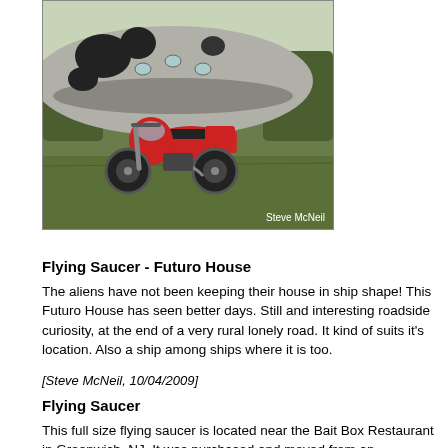[Figure (photo): A red motorcycle parked in front of a large silver flying saucer / Futuro House structure, outdoors on grass. Photo credit: Steve McNeil.]
Flying Saucer - Futuro House
The aliens have not been keeping their house in ship shape! This Futuro House has seen better days. Still and interesting road-side curiosity, at the end of a very rural lonely road. It kind of suits it's location. Also a ship among ships where it is too.
[Steve McNeil, 10/04/2009]
Flying Saucer
This full size flying saucer is located near the Bait Box Restaurant in Greenwich, NJ. It was purchased and moved from an amusement park in Bridgeton. It's in pretty bad shape but you can still climb into it. Rumor is that it will be made into a gift shop